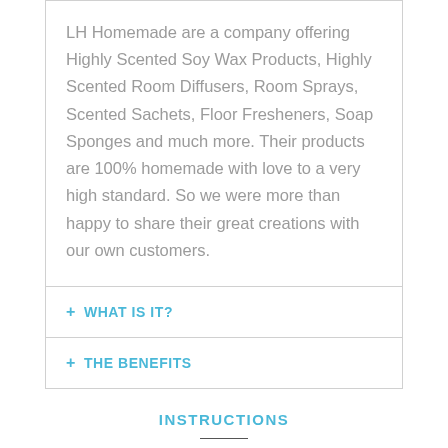LH Homemade are a company offering Highly Scented Soy Wax Products, Highly Scented Room Diffusers, Room Sprays, Scented Sachets, Floor Fresheners, Soap Sponges and much more. Their products are 100% homemade with love to a very high standard. So we were more than happy to share their great creations with our own customers.
+ WHAT IS IT?
+ THE BENEFITS
INSTRUCTIONS
Pop one on the floor towards back of the shower or